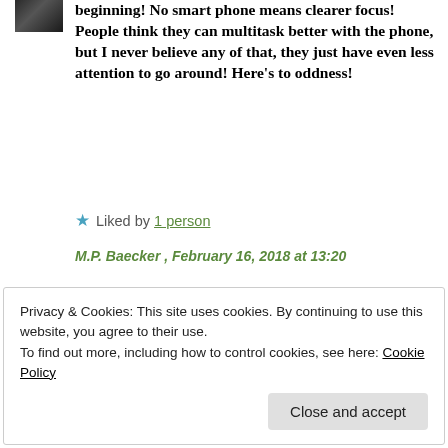[Figure (photo): Small avatar/profile photo thumbnail in dark tones]
beginning! No smart phone means clearer focus! People think they can multitask better with the phone, but I never believe any of that, they just have even less attention to go around! Here's to oddness!
★ Liked by 1 person
M.P. Baecker , February 16, 2018 at 13:20
Privacy & Cookies: This site uses cookies. By continuing to use this website, you agree to their use.
To find out more, including how to control cookies, see here: Cookie Policy
Close and accept